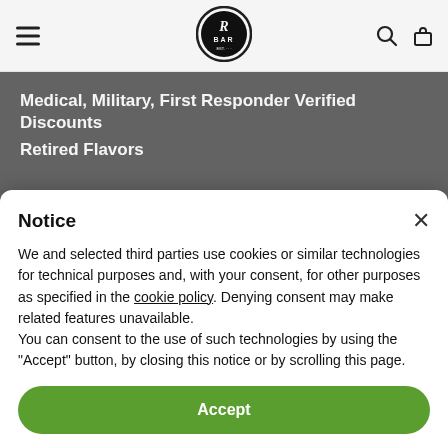R BAR (logo) — navigation bar with menu, search, and bag icons
Medical, Military, First Responder Verified Discounts
Retired Flavors
Notice
We and selected third parties use cookies or similar technologies for technical purposes and, with your consent, for other purposes as specified in the cookie policy. Denying consent may make related features unavailable.
You can consent to the use of such technologies by using the "Accept" button, by closing this notice or by scrolling this page.
Accept